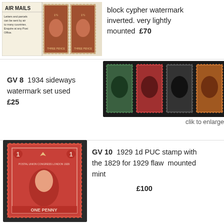[Figure (photo): AIR MAILS label alongside two King George V stamps in brown/red, perforated, showing king's portrait and THREE PENCE inscription]
block cypher watermark inverted. very lightly mounted  £70
[Figure (photo): Four King George V 1934 sideways watermark stamps used: green, red, black, and orange-brown on dark background]
GV 8  1934 sideways watermark set used  £25
clik to enlarge
[Figure (photo): Large King George V 1929 1d PUC stamp in red, showing king's portrait with POSTAL UNION CONGRESS LONDON 1929 circular text and ONE PENNY at bottom]
GV 10  1929 1d PUC stamp with the 1829 for 1929 flaw  mounted mint  £100